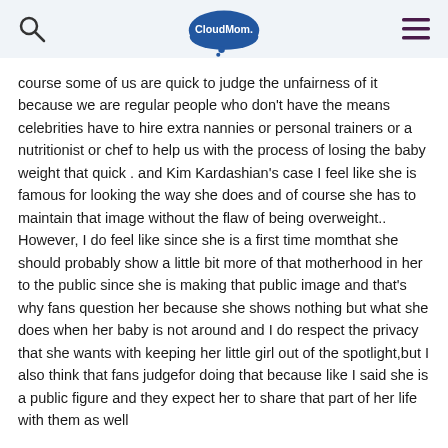CloudMom
course some of us are quick to judge the unfairness of it because we are regular people who don't have the means celebrities have to hire extra nannies or personal trainers or a nutritionist or chef to help us with the process of losing the baby weight that quick . and Kim Kardashian's case I feel like she is famous for looking the way she does and of course she has to maintain that image without the flaw of being overweight.. However, I do feel like since she is a first time momthat she should probably show a little bit more of that motherhood in her to the public since she is making that public image and that's why fans question her because she shows nothing but what she does when her baby is not around and I do respect the privacy that she wants with keeping her little girl out of the spotlight,but I also think that fans judgefor doing that because like I said she is a public figure and they expect her to share that part of her life with them as well
Log in to Reply
Mallory